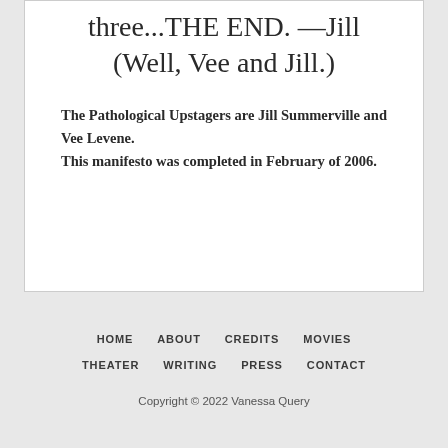three...THE END. —Jill (Well, Vee and Jill.)
The Pathological Upstagers are Jill Summerville and Vee Levene. This manifesto was completed in February of 2006.
HOME   ABOUT   CREDITS   MOVIES   THEATER   WRITING   PRESS   CONTACT
Copyright © 2022 Vanessa Query